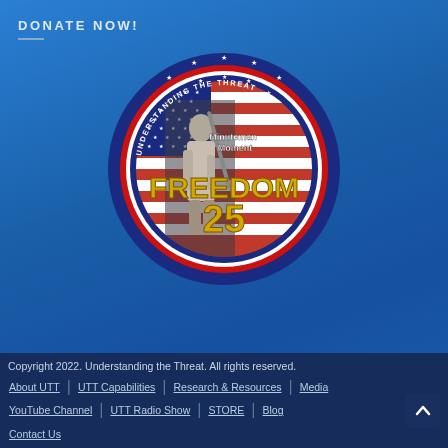DONATE NOW!
[Figure (logo): Circular logo with dark blue outer ring with white stars, red-white-blue American flag background, a Minuteman statue figure standing, text 'UNDERSTANDING THE THREAT' curved along top of ring, 'Minuteman Moment' in white text, and large gold text 'FREEDOM 25' in the center]
Copyright 2022. Understanding the Threat. All rights reserved. | About UTT | UTT Capabilities | Research & Resources | Media | YouTube Channel | UTT Radio Show | STORE | Blog | Contact Us